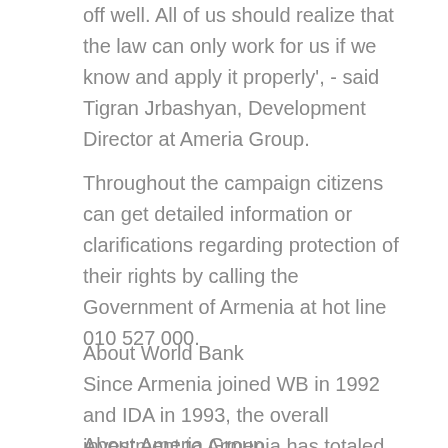off well. All of us should realize that the law can only work for us if we know and apply it properly', - said Tigran Jrbashyan, Development Director at Ameria Group.
Throughout the campaign citizens can get detailed information or clarifications regarding protection of their rights by calling the Government of Armenia at hot line 010 527 000.
About World Bank
Since Armenia joined WB in 1992 and IDA in 1993, the overall investment to Armenia has totaled about 1,517 million US dollars.
About Ameria Group